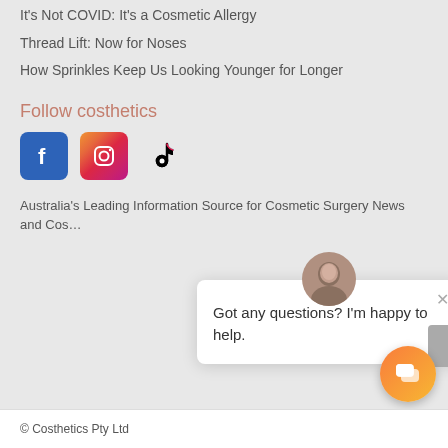It's Not COVID: It's a Cosmetic Allergy
Thread Lift: Now for Noses
How Sprinkles Keep Us Looking Younger for Longer
Follow costhetics
[Figure (other): Social media icons: Facebook, Instagram, TikTok]
Australia's Leading Information Source for Cosmetic Surgery News and Cos…
[Figure (other): Chat popup with avatar and message: Got any questions? I'm happy to help.]
[Figure (other): Orange chat bubble button in bottom-right corner]
© Costhetics Pty Ltd